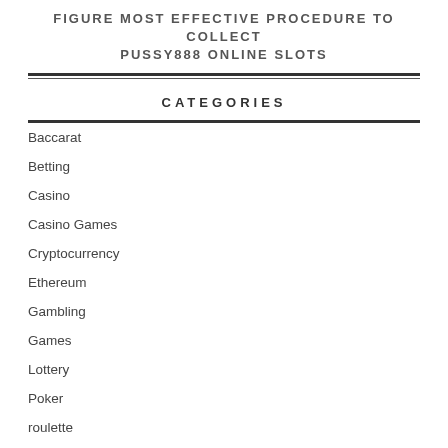FIGURE MOST EFFECTIVE PROCEDURE TO COLLECT PUSSY888 ONLINE SLOTS
CATEGORIES
Baccarat
Betting
Casino
Casino Games
Cryptocurrency
Ethereum
Gambling
Games
Lottery
Poker
roulette